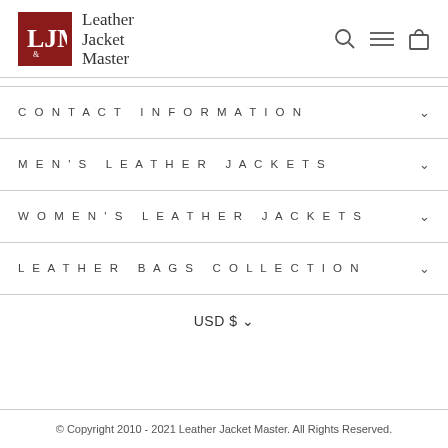[Figure (logo): Leather Jacket Master logo with red square LJM monogram and serif text]
CONTACT INFORMATION
MEN'S LEATHER JACKETS
WOMEN'S LEATHER JACKETS
LEATHER BAGS COLLECTION
USD $
© Copyright 2010 - 2021 Leather Jacket Master. All Rights Reserved.